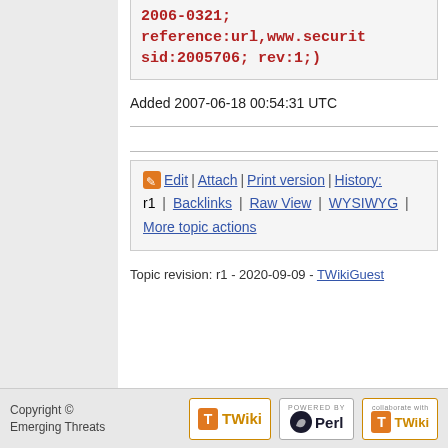2006-0321; reference:url,www.securit sid:2005706; rev:1;)
Added 2007-06-18 00:54:31 UTC
Edit | Attach | Print version | History: r1 | Backlinks | Raw View | WYSIWYG | More topic actions
Topic revision: r1 - 2020-09-09 - TWikiGuest
Copyright © Emerging Threats